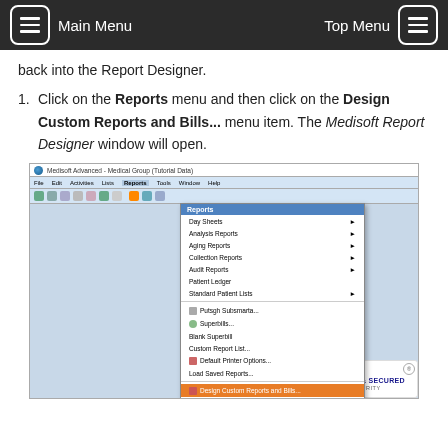Main Menu   Top Menu
back into the Report Designer.
Click on the Reports menu and then click on the Design Custom Reports and Bills... menu item. The Medisoft Report Designer window will open.
[Figure (screenshot): Screenshot of Medisoft Advanced - Medical Group (Tutorial Data) application showing the Reports menu open with 'Design Custom Reports and Bills...' item highlighted in orange. Menu items visible include: Day Sheets, Analysis Reports, Aging Reports, Collection Reports, Audit Reports, Patient Ledger, Standard Patient Lists, Putsgh Subsmarta, Superbills, Blank Superbill, Custom Report List, Default Printer Options, Load Saved Reports, Design Custom Reports and Bills..., Medisoft Reports. A GoDaddy Verified & Secured badge appears in the bottom right corner.]